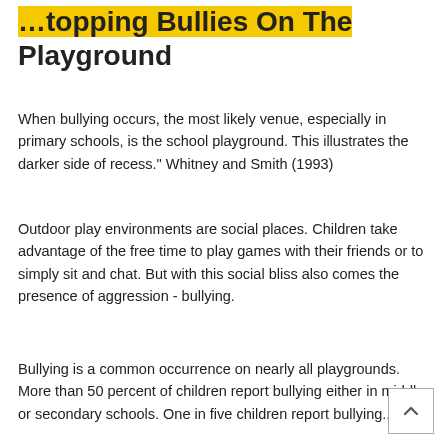...topping Bullies On The Playground
When bullying occurs, the most likely venue, especially in primary schools, is the school playground. This illustrates the darker side of recess." Whitney and Smith (1993)
Outdoor play environments are social places. Children take advantage of the free time to play games with their friends or to simply sit and chat. But with this social bliss also comes the presence of aggression - bullying.
Bullying is a common occurrence on nearly all playgrounds. More than 50 percent of children report bullying either in middle or secondary schools. One in five children report bullying...